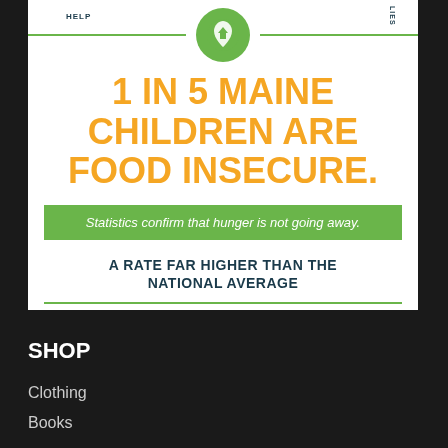[Figure (infographic): White card infographic showing Maine food insecurity statistics with green circle logo, orange headline, green banner, and social handle]
1 IN 5 MAINE CHILDREN ARE FOOD INSECURE.
Statistics confirm that hunger is not going away.
A RATE FAR HIGHER THAN THE NATIONAL AVERAGE
Support the cause at | @feedingmaine
SHOP
Clothing
Books